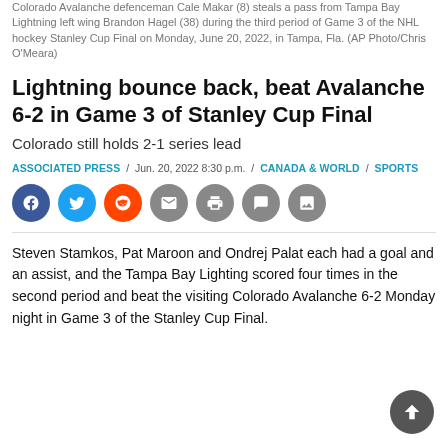Colorado Avalanche defenceman Cale Makar (8) steals a pass from Tampa Bay Lightning left wing Brandon Hagel (38) during the third period of Game 3 of the NHL hockey Stanley Cup Final on Monday, June 20, 2022, in Tampa, Fla. (AP Photo/Chris O'Meara)
Lightning bounce back, beat Avalanche 6-2 in Game 3 of Stanley Cup Final
Colorado still holds 2-1 series lead
ASSOCIATED PRESS / Jun. 20, 2022 8:30 p.m. / CANADA & WORLD / SPORTS
[Figure (other): Social sharing buttons: Facebook, Twitter, Reddit, Email, Print, Comment, Gallery]
Steven Stamkos, Pat Maroon and Ondrej Palat each had a goal and an assist, and the Tampa Bay Lighting scored four times in the second period and beat the visiting Colorado Avalanche 6-2 Monday night in Game 3 of the Stanley Cup Final.